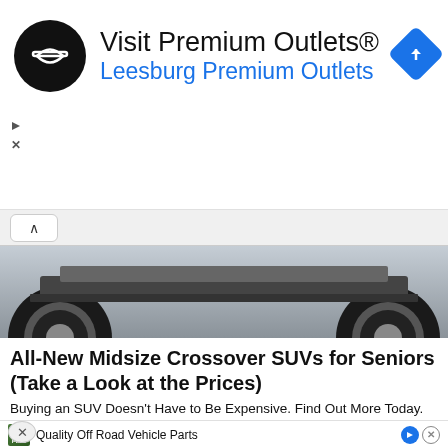[Figure (screenshot): Top advertisement banner for Premium Outlets with black circular logo and blue navigation diamond icon]
Visit Premium Outlets®
Leesburg Premium Outlets
[Figure (photo): Bottom of SUV car showing wheels and undercarriage against grey background]
All-New Midsize Crossover SUVs for Seniors (Take a Look at the Prices)
Buying an SUV Doesn't Have to Be Expensive. Find Out More Today.
Senior Cars | Search Ads | Sponsored
[Figure (photo): Close-up render of white ceramic teeth against pink gum background]
[Figure (screenshot): Bottom advertisement strip with thumbnail image showing off-road vehicle and text Quality Off Road Vehicle Parts]